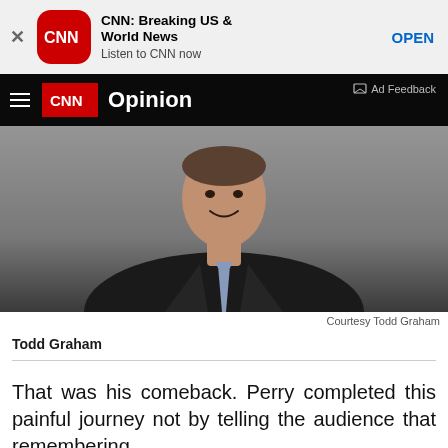[Figure (screenshot): App store banner for CNN: Breaking US & World News app with close button, CNN logo, app title, subtitle 'Listen to CNN now', and OPEN button]
CNN Opinion
[Figure (photo): Photo of Todd Graham, a man in a dark suit and blue tie, smiling, grey background. Credit: Courtesy Todd Graham]
Courtesy Todd Graham
Todd Graham
That was his comeback. Perry completed this painful journey not by telling the audience that remembering